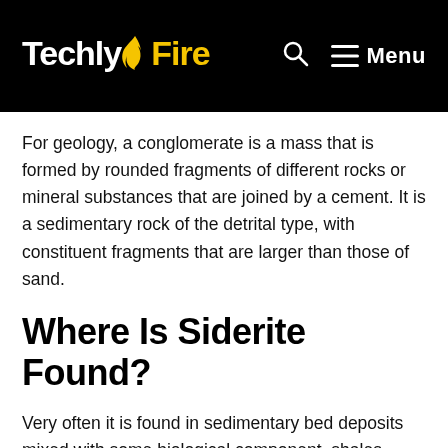TechlyFire  🔍  ☰ Menu
For geology, a conglomerate is a mass that is formed by rounded fragments of different rocks or mineral substances that are joined by a cement. It is a sedimentary rock of the detrital type, with constituent fragments that are larger than those of sand.
Where Is Siderite Found?
Very often it is found in sedimentary bed deposits mixed with some biological component, shales, clays or coal, which suggests that siderite is biogenically created It can also be found in metamorphosed sedimentary rocks forming